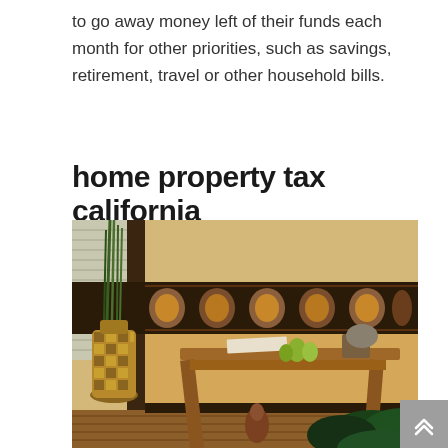to go away money left of their funds each month for other priorities, such as savings, retirement, travel or other household bills.
home property tax california
[Figure (photo): Interior room photo showing a wooden console table with decorative items including pears and a small box on top, a tall golden mosaic vase with green plant stalks to the left, a dark decorative wallpaper border with African-style motifs running horizontally across the wall, and large tropical green leaves visible in the lower right corner. The room has warm beige/tan walls and a herringbone wood floor.]